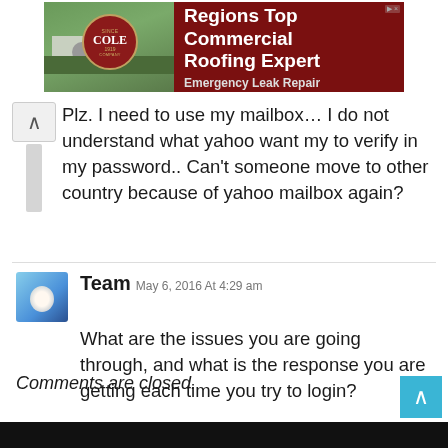[Figure (other): Advertisement banner for Cole Roofing Company showing aerial photo of building with circular logo badge. Text reads 'Regions Top Commercial Roofing Expert' and 'Emergency Leak Repair' on dark red background.]
Plz. I need to use my mailbox… I do not understand what yahoo want my to verify in my password.. Can't someone move to other country because of yahoo mailbox again?
Team May 6, 2016 At 4:29 am
What are the issues you are going through, and what is the response you are getting each time you try to login?
Comments are closed.